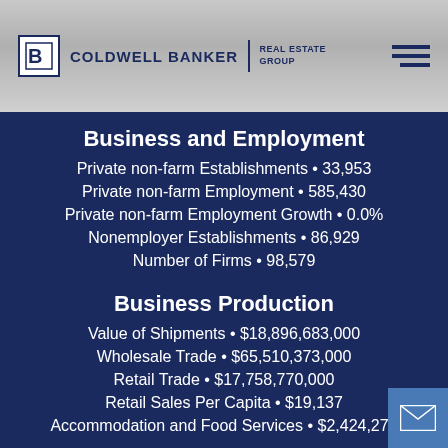Coldwell Banker Real Estate Group
Business and Employment
Private non-farm Establishments • 33,953
Private non-farm Employment • 585,430
Private non-farm Employment Growth • 0.0%
Nonemployer Establishments • 86,929
Number of Firms • 98,579
Business Production
Value of Shipments • $18,896,683,000
Wholesale Trade • $65,510,373,000
Retail Trade • $17,758,770,000
Retail Sales Per Capita • $19,137
Accommodation and Food Services • $2,424,272